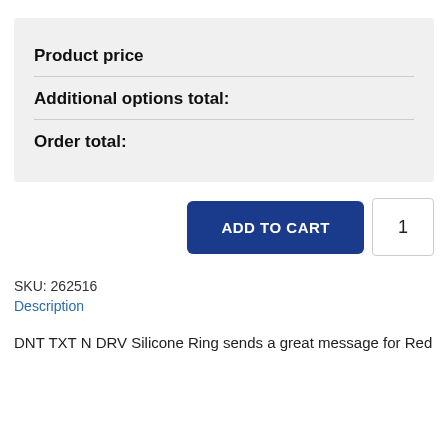| Product price |  |
| Additional options total: |  |
| Order total: |  |
[Figure (screenshot): ADD TO CART button (dark blue, rounded) with quantity box showing 1]
SKU: 262516
Description
DNT TXT N DRV Silicone Ring sends a great message for Red